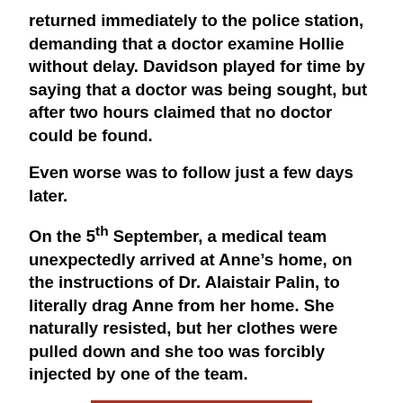returned immediately to the police station, demanding that a doctor examine Hollie without delay. Davidson played for time by saying that a doctor was being sought, but after two hours claimed that no doctor could be found.
Even worse was to follow just a few days later.
On the 5th September, a medical team unexpectedly arrived at Anne’s home, on the instructions of Dr. Alaistair Palin, to literally drag Anne from her home. She naturally resisted, but her clothes were pulled down and she too was forcibly injected by one of the team.
[Figure (photo): Photo of a person with blonde/light brown hair against a red background, cropped to show top of head]